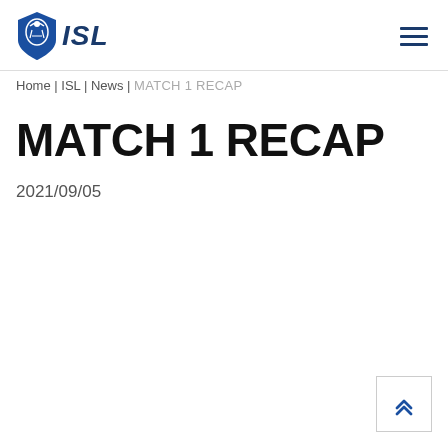ISL logo and navigation
Home | ISL | News | MATCH 1 RECAP
MATCH 1 RECAP
2021/09/05